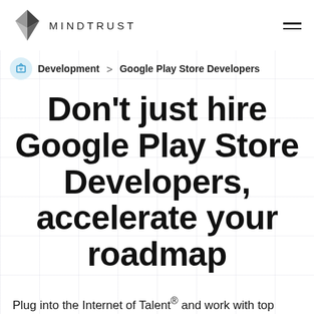MINDTRUST
Development > Google Play Store Developers
Don't just hire Google Play Store Developers, accelerate your roadmap
Plug into the Internet of Talent® and work with top